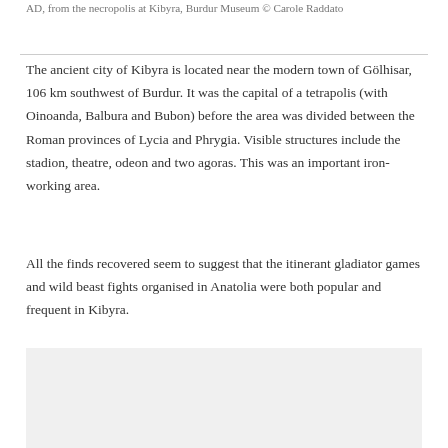AD, from the necropolis at Kibyra, Burdur Museum © Carole Raddato
The ancient city of Kibyra is located near the modern town of Gölhisar, 106 km southwest of Burdur. It was the capital of a tetrapolis (with Oinoanda, Balbura and Bubon) before the area was divided between the Roman provinces of Lycia and Phrygia. Visible structures include the stadion, theatre, odeon and two agoras. This was an important iron-working area.
All the finds recovered seem to suggest that the itinerant gladiator games and wild beast fights organised in Anatolia were both popular and frequent in Kibyra.
[Figure (photo): Gray placeholder area representing an image below the text content]